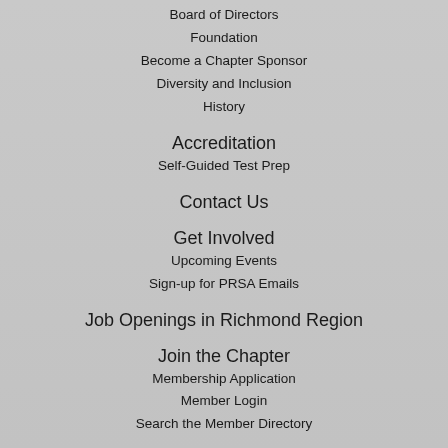Board of Directors
Foundation
Become a Chapter Sponsor
Diversity and Inclusion
History
Accreditation
Self-Guided Test Prep
Contact Us
Get Involved
Upcoming Events
Sign-up for PRSA Emails
Job Openings in Richmond Region
Join the Chapter
Membership Application
Member Login
Search the Member Directory